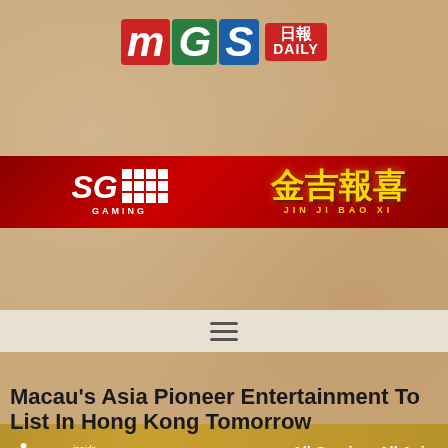[Figure (logo): MGS Daily logo with colored letter blocks M (red), G (green), S (blue) and red box with Chinese characters 日報 and DAILY text]
[Figure (logo): SG Gaming banner with red background, white grid logo and SG Gaming branding, next to Jin Ji Bao Xi Chinese slot game title in gold]
[Figure (other): Navigation menu bar with hamburger menu icon]
[Figure (logo): IAG inside asian gaming gold banner with tagline All Gaming. All Asia and website www.asgam.com]
[Figure (other): Power 50 event save the date banner: Friday 4 November 2022, Macau, China with Chinese text 恭候蒞臨 2022年11月4日星期五 中國澳門]
Macau's Asia Pioneer Entertainment To List In Hong Kong Tomorrow